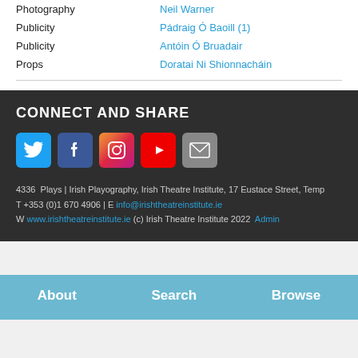Photography / Neil Warner
Publicity / Pádraig Ó Baoill (1)
Publicity / Antóin Ó Bruadair
Props / Doratai Ni Shionnacháin
CONNECT AND SHARE
[Figure (infographic): Row of 5 social media icon buttons: Twitter (blue bird), Facebook (blue f), Instagram (colorful camera), YouTube (red play button), Email (grey envelope)]
4336  Plays | Irish Playography, Irish Theatre Institute, 17 Eustace Street, Temp
T +353 (0)1 670 4906 | E info@irishtheatreinstitute.ie
W www.irishtheatreinstitute.ie (c) Irish Theatre Institute 2022  Admin
About   Search   Browse